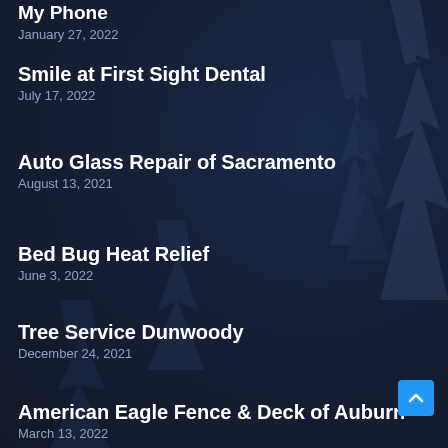My Phone
January 27, 2022
Smile at First Sight Dental
July 17, 2022
Auto Glass Repair of Sacramento
August 13, 2021
Bed Bug Heat Relief
June 3, 2022
Tree Service Dunwoody
December 24, 2021
American Eagle Fence & Deck of Auburn
March 13, 2022